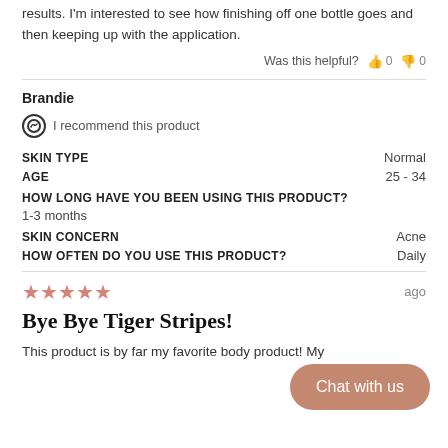results. I'm interested to see how finishing off one bottle goes and then keeping up with the application.
Was this helpful? 👍 0 👎 0
Brandie
I recommend this product
SKIN TYPE: Normal
AGE: 25 - 34
HOW LONG HAVE YOU BEEN USING THIS PRODUCT? 1-3 months
SKIN CONCERN: Acne
HOW OFTEN DO YOU USE THIS PRODUCT? Daily
★★★★★ ago
Bye Bye Tiger Stripes!
This product is by far my favorite body product! My
Chat with us